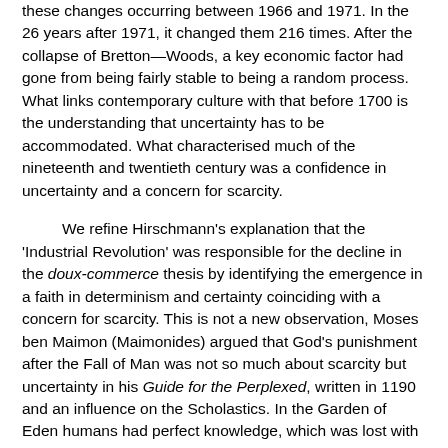these changes occurring between 1966 and 1971. In the 26 years after 1971, it changed them 216 times. After the collapse of Bretton—Woods, a key economic factor had gone from being fairly stable to being a random process. What links contemporary culture with that before 1700 is the understanding that uncertainty has to be accommodated. What characterised much of the nineteenth and twentieth century was a confidence in uncertainty and a concern for scarcity.
We refine Hirschmann's explanation that the 'Industrial Revolution' was responsible for the decline in the doux-commerce thesis by identifying the emergence in a faith in determinism and certainty coinciding with a concern for scarcity. This is not a new observation, Moses ben Maimon (Maimonides) argued that God's punishment after the Fall of Man was not so much about scarcity but uncertainty in his Guide for the Perplexed, written in 1190 and an influence on the Scholastics. In the Garden of Eden humans had perfect knowledge, which was lost with the Fall, and it is the loss of this knowledge which is at the root of suffering: if we know what will happen we can manage scarcity [Perlman, 1997]